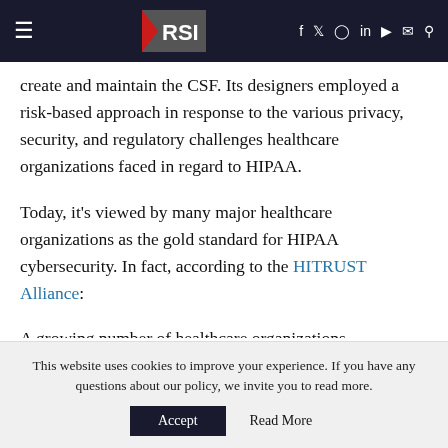RSI — navigation header with hamburger menu, RSI logo, and social icons
create and maintain the CSF. Its designers employed a risk-based approach in response to the various privacy, security, and regulatory challenges healthcare organizations faced in regard to HIPAA.
Today, it's viewed by many major healthcare organizations as the gold standard for HIPAA cybersecurity. In fact, according to the HITRUST Alliance:
A growing number of healthcare organizations,
This website uses cookies to improve your experience. If you have any questions about our policy, we invite you to read more.